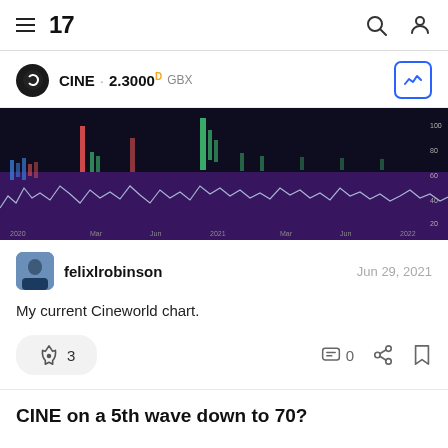TradingView navigation bar with hamburger menu, TV logo, search icon, and user icon
CINE · 2.3000 D GBX
[Figure (screenshot): Dark-themed TradingView stock chart for CINE (Cineworld) showing price and volume history from 2020 to 2022 with purple shaded area and multicolored volume bars.]
felixlrobinson
Jun 29, 2021
My current Cineworld chart.
🚀 3   💬 0
CINE on a 5th wave down to 70?